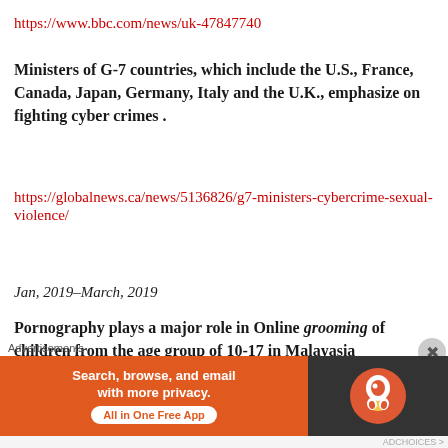https://www.bbc.com/news/uk-47847740
Ministers of G-7 countries, which include the U.S., France, Canada, Japan, Germany, Italy and the U.K., emphasize on fighting cyber crimes .
https://globalnews.ca/news/5136826/g7-ministers-cybercrime-sexual-violence/
Jan, 2019–March, 2019
Pornography plays a major role in Online grooming of children from the age group of 10-17 in Malayasia
https://www.malaymail.com/news/malaysia/2019/03/23/ngo-claims-80-pc-of-children-aged-10-17-years-have-
[Figure (other): DuckDuckGo advertisement banner: Search, browse, and email with more privacy. All in One Free App. DuckDuckGo logo on dark background.]